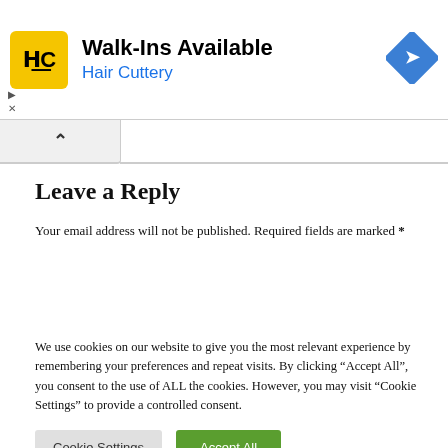[Figure (infographic): Hair Cuttery advertisement banner with yellow logo showing HC initials, text 'Walk-Ins Available' and 'Hair Cuttery' in blue, and a blue diamond navigation icon on the right]
Leave a Reply
Your email address will not be published. Required fields are marked *
We use cookies on our website to give you the most relevant experience by remembering your preferences and repeat visits. By clicking “Accept All”, you consent to the use of ALL the cookies. However, you may visit “Cookie Settings” to provide a controlled consent.